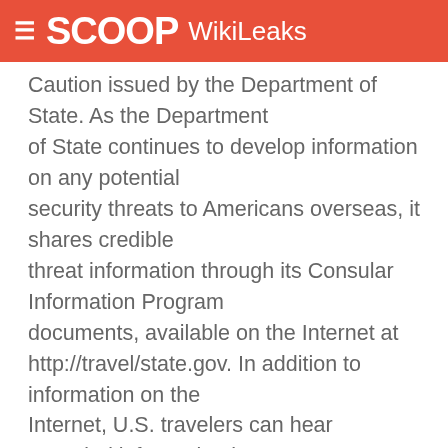SCOOP WikiLeaks
Caution issued by the Department of State. As the Department of State continues to develop information on any potential security threats to Americans overseas, it shares credible threat information through its Consular Information Program documents, available on the Internet at http://travel/state.gov. In addition to information on the Internet, U.S. travelers can hear recorded information by calling the Department of State in Washington, D.C. at